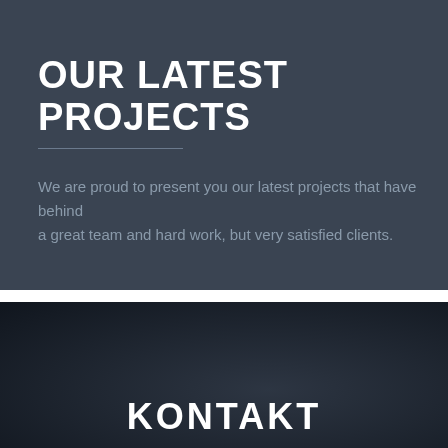OUR LATEST PROJECTS
We are proud to present you our latest projects that have behind
a great team and hard work, but very satisfied clients.
[Figure (photo): Dark blurred background photo for the Kontakt section]
KONTAKT